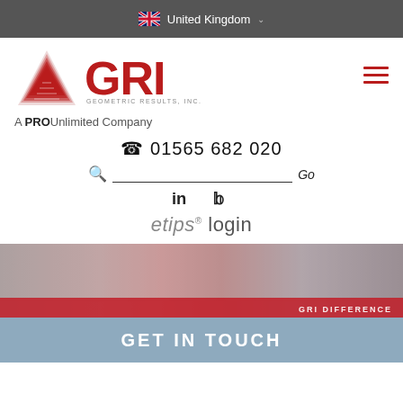United Kingdom
[Figure (logo): GRI Geometric Results Inc. logo with red triangle and bold GRI text, A PROUnlimited Company tagline]
01565 682 020
Search field with Go button
[Figure (illustration): LinkedIn and Twitter social media icons]
etips® login
[Figure (photo): Hero image showing people in an office/workplace setting with red bar overlay and partial text GRI DIFFERENCE]
GET IN TOUCH